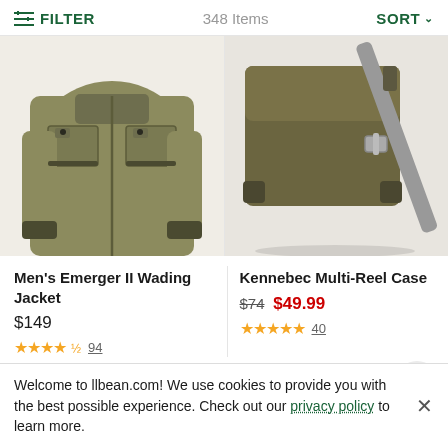FILTER   348 Items   SORT
[Figure (photo): Men's olive/khaki wading jacket with multiple front pockets and dark trim, partial view showing torso]
[Figure (photo): Olive/dark brown messenger-style multi-reel case with gray shoulder strap and buckle, close-up view]
Men's Emerger II Wading Jacket
$149
★★★★½  94
Kennebec Multi-Reel Case
$74 $49.99
★★★★★  40
Welcome to llbean.com! We use cookies to provide you with the best possible experience. Check out our privacy policy to learn more.